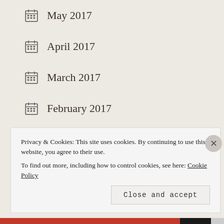May 2017
April 2017
March 2017
February 2017
January 2017
December 2016
November 2016
Privacy & Cookies: This site uses cookies. By continuing to use this website, you agree to their use. To find out more, including how to control cookies, see here: Cookie Policy
Close and accept